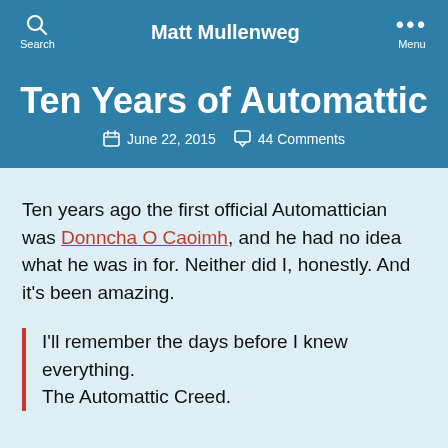Matt Mullenweg
Ten Years of Automattic
June 22, 2015   44 Comments
Ten years ago the first official Automattician was Donncha O Caoimh, and he had no idea what he was in for. Neither did I, honestly. And it's been amazing.
I'll remember the days before I knew everything. The Automattic Creed.